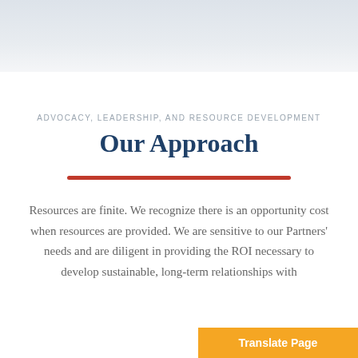[Figure (photo): Light gray/blue gradient header image area at the top of the page]
ADVOCACY, LEADERSHIP, AND RESOURCE DEVELOPMENT
Our Approach
Resources are finite. We recognize there is an opportunity cost when resources are provided. We are sensitive to our Partners' needs and are diligent in providing the ROI necessary to develop sustainable, long-term relationships with
Translate Page